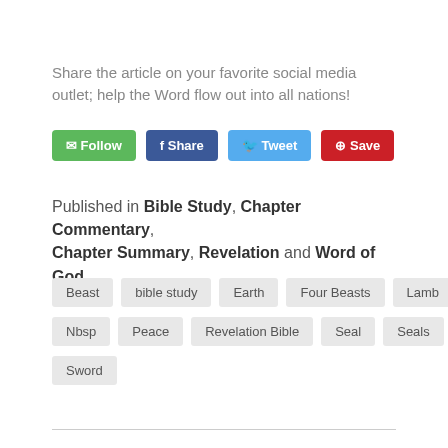Share the article on your favorite social media outlet; help the Word flow out into all nations!
[Figure (screenshot): Social sharing buttons: Follow (green), Share (Facebook blue), Tweet (Twitter blue), Save (Pinterest red)]
Published in Bible Study, Chapter Commentary, Chapter Summary, Revelation and Word of God
Beast
bible study
Earth
Four Beasts
Lamb
Nbsp
Peace
Revelation Bible
Seal
Seals
Sword